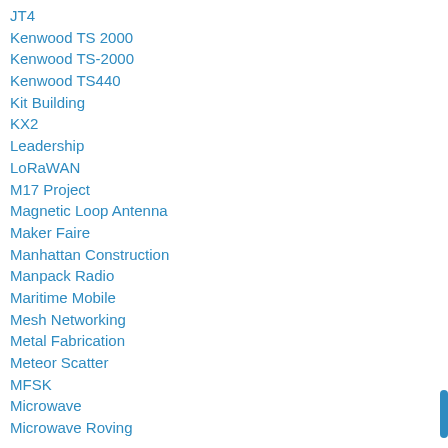JT4
Kenwood TS 2000
Kenwood TS-2000
Kenwood TS440
Kit Building
KX2
Leadership
LoRaWAN
M17 Project
Magnetic Loop Antenna
Maker Faire
Manhattan Construction
Manpack Radio
Maritime Mobile
Mesh Networking
Metal Fabrication
Meteor Scatter
MFSK
Microwave
Microwave Roving